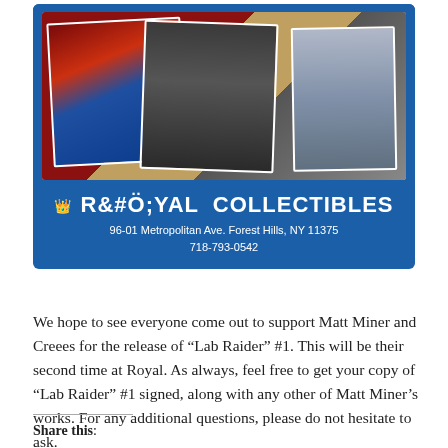[Figure (photo): Royal Collectibles advertisement showing a collage of comic book covers and photos of people at a convention, on a blue background. Store name and address displayed below the images.]
We hope to see everyone come out to support Matt Miner and Creees for the release of “Lab Raider” #1. This will be their second time at Royal. As always, feel free to get your copy of “Lab Raider” #1 signed, along with any other of Matt Miner’s works. For any additional questions, please do not hesitate to ask.
Share this: